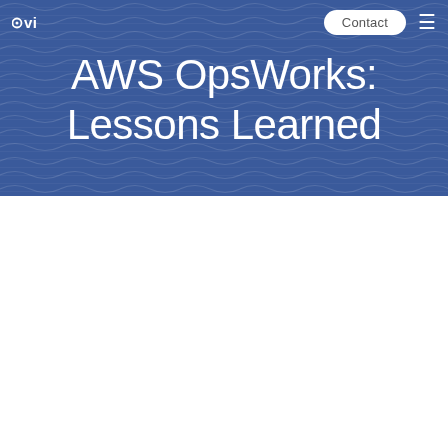viget | Contact
AWS OpsWorks: Lessons Learned
David Eisinger, Development Director
#CODE
Posted on October 4, 2013